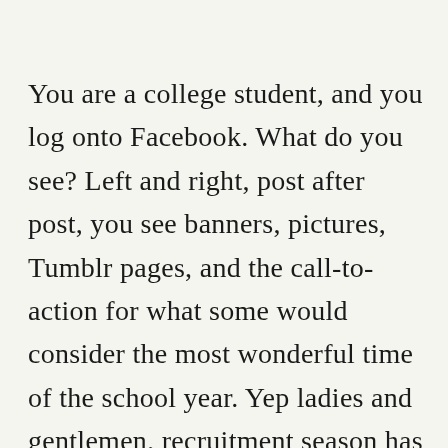You are a college student, and you log onto Facebook. What do you see? Left and right, post after post, you see banners, pictures, Tumblr pages, and the call-to-action for what some would consider the most wonderful time of the school year. Yep ladies and gentlemen, recruitment season has returned. But maybe some of us aren't so impressed.